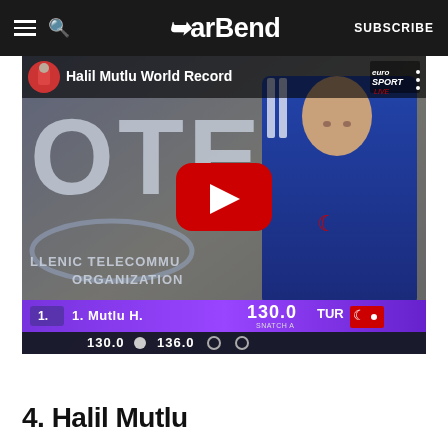BarBend  SUBSCRIBE
[Figure (screenshot): YouTube video thumbnail showing weightlifter Halil Mutlu at a competition. The video is titled 'Halil Mutlu World Record'. The background shows OTE (Hellenic Telecommunication Organization) branding. A scoreboard at the bottom shows: 1. Mutlu H., 130.0, TUR with Turkish flag. Secondary row shows 130.0 and 136.0. Eurosport Live logo visible in top right.]
4. Halil Mutlu